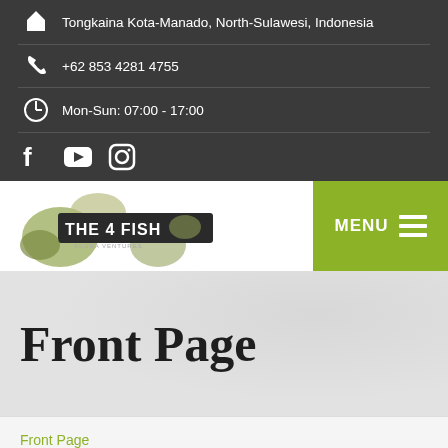Tongkaina Kota-Manado, North-Sulawesi, Indonesia
+62 853 4281 4755
Mon-Sun: 07:00 - 17:00
Social icons: Facebook, YouTube, Instagram
[Figure (logo): The 4 Fish logo with fish silhouettes and dark banner]
MENU
Front Page
Front Page